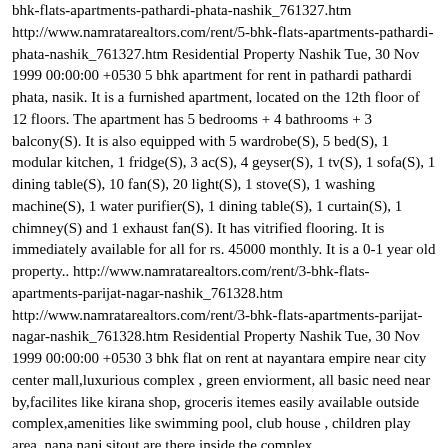bhk-flats-apartments-pathardi-phata-nashik_761327.htm http://www.namratarealtors.com/rent/5-bhk-flats-apartments-pathardi-phata-nashik_761327.htm Residential Property Nashik Tue, 30 Nov 1999 00:00:00 +0530 5 bhk apartment for rent in pathardi pathardi phata, nasik. It is a furnished apartment, located on the 12th floor of 12 floors. The apartment has 5 bedrooms + 4 bathrooms + 3 balcony(S). It is also equipped with 5 wardrobe(S), 5 bed(S), 1 modular kitchen, 1 fridge(S), 3 ac(S), 4 geyser(S), 1 tv(S), 1 sofa(S), 1 dining table(S), 10 fan(S), 20 light(S), 1 stove(S), 1 washing machine(S), 1 water purifier(S), 1 dining table(S), 1 curtain(S), 1 chimney(S) and 1 exhaust fan(S). It has vitrified flooring. It is immediately available for all for rs. 45000 monthly. It is a 0-1 year old property.. http://www.namratarealtors.com/rent/3-bhk-flats-apartments-parijat-nagar-nashik_761328.htm http://www.namratarealtors.com/rent/3-bhk-flats-apartments-parijat-nagar-nashik_761328.htm Residential Property Nashik Tue, 30 Nov 1999 00:00:00 +0530 3 bhk flat on rent at nayantara empire near city center mall,luxurious complex , green enviorment, all basic need near by,facilites like kirana shop, groceris itemes easily available outside complex,amenities like swimming pool, club house , children play area, nana nani sitout are there inside the complex... http://www.namratarealtors.com/rent/3-bhk-flats-apartments-indira-nagar-nashik_761329.htm http://www.namratarealtors.com/rent/3-bhk-flats-apartments-indira-nagar-nashik_761329.htm Residential Property Nashik Tu